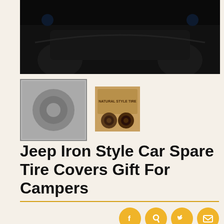[Figure (photo): Dark product image of a Jeep spare tire cover, mostly black with vehicle silhouette visible]
[Figure (photo): Small thumbnail of Jeep spare tire cover - dark image]
[Figure (photo): Small thumbnail showing a decorative spare tire cover with text and circular designs]
Jeep Iron Style Car Spare Tire Covers Gift For Campers
$49.95
Size: